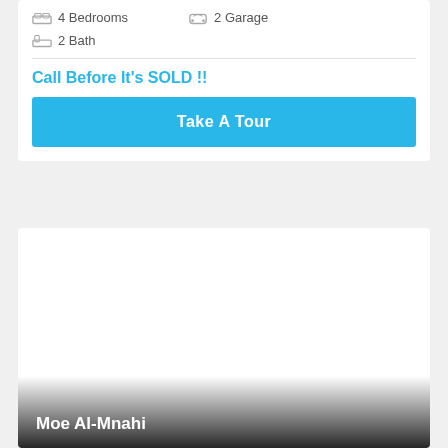4 Bedrooms
2 Garage
2 Bath
Call Before It's SOLD !!
Take A Tour
[Figure (photo): Agent photo placeholder — white/light background card]
Moe Al-Mnahi